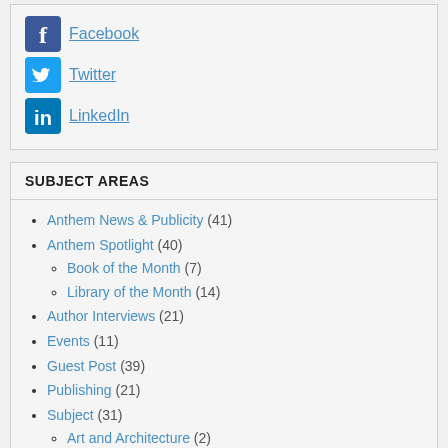Facebook
Twitter
LinkedIn
SUBJECT AREAS
Anthem News & Publicity (41)
Anthem Spotlight (40)
Book of the Month (7)
Library of the Month (14)
Author Interviews (21)
Events (11)
Guest Post (39)
Publishing (21)
Subject (31)
Art and Architecture (2)
Business and Management (4)
Economics (1)